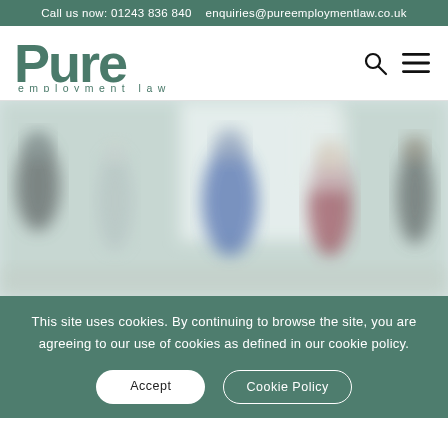Call us now: 01243 836 840   enquiries@pureemploymentlaw.co.uk
[Figure (logo): Pure Employment Law logo — 'Pure' in large green serif-style bold text, 'employment law' in small green spaced letters below]
[Figure (photo): Blurred office meeting scene showing several people standing in a bright room, viewed from behind]
This site uses cookies. By continuing to browse the site, you are agreeing to our use of cookies as defined in our cookie policy.
Accept
Cookie Policy